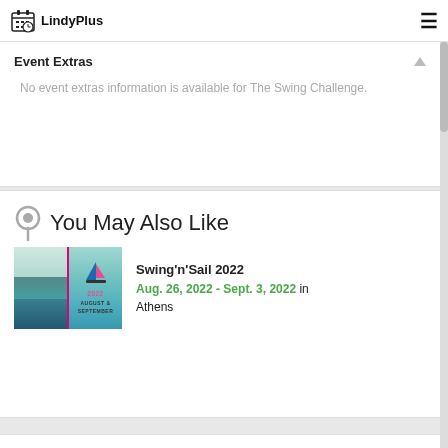LindyPlus
Event Extras
No event extras information is available for The Swing Challenge.
You May Also Like
Swing'n'Sail 2022
Aug. 26, 2022 - Sept. 3, 2022 in Athens
Assistance?
We're at your service to help you with your booking